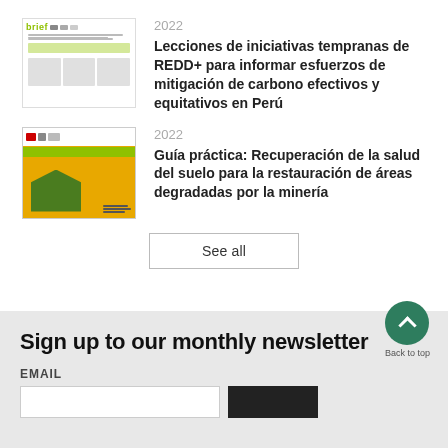[Figure (illustration): Thumbnail of a policy brief document with green 'brief' header logo and text columns]
2022
Lecciones de iniciativas tempranas de REDD+ para informar esfuerzos de mitigación de carbono efectivos y equitativos en Perú
[Figure (illustration): Thumbnail of a guide document with yellow/orange cover showing soil restoration imagery]
2022
Guía práctica: Recuperación de la salud del suelo para la restauración de áreas degradadas por la minería
See all
Sign up to our monthly newsletter
EMAIL